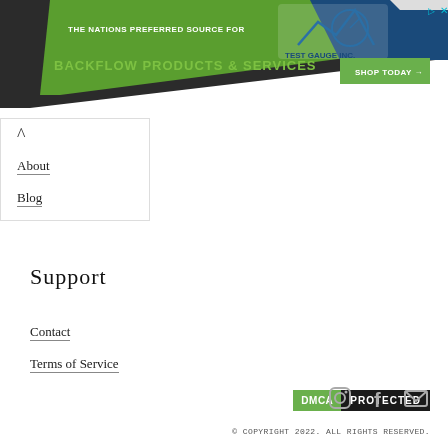[Figure (screenshot): Website banner advertisement for Test Gauge Inc. featuring green and dark blue diagonal shapes, company logo, tagline 'THE NATIONS PREFERRED SOURCE FOR BACKFLOW PRODUCTS & SERVICES', and a green 'SHOP TODAY' button with arrow.]
About
Blog
Support
Contact
Terms of Service
[Figure (logo): DMCA PROTECTED badge with green 'DMCA' text on green background and white 'PROTECTED' text on dark background.]
[Figure (infographic): Social media icons: Instagram camera icon, Facebook f icon, and email envelope icon, all in gray.]
© COPYRIGHT 2022. ALL RIGHTS RESERVED.